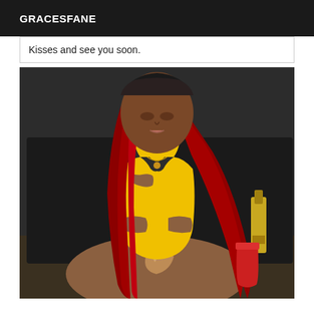GRACESFANE
Kisses and see you soon.
[Figure (photo): A woman with long red braided hair wearing a yellow cut-out swimsuit/bodysuit, sitting down and looking downward. There is a bottle and a red cup visible in the background on the right side. The background appears to be a dark room or hotel room.]